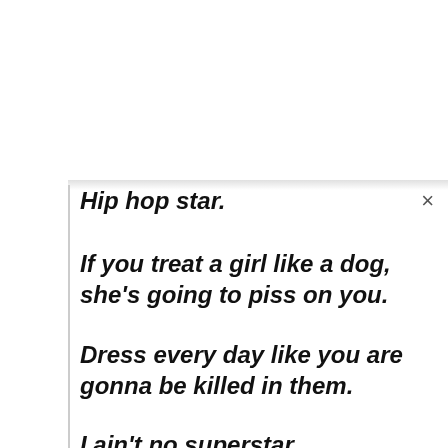Hip hop star.
If you treat a girl like a dog, she's going to piss on you.
Dress every day like you are gonna be killed in them.
I ain't no superstar.
No, I checked my receipt. I didn't buy any of your